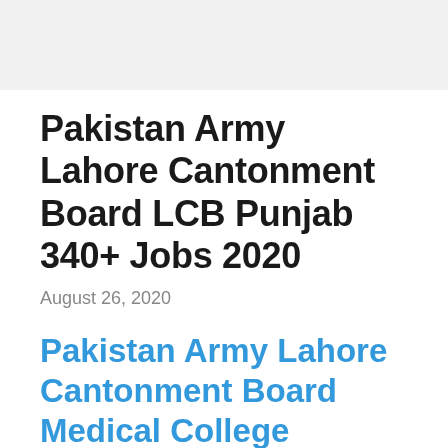Pakistan Army Lahore Cantonment Board LCB Punjab 340+ Jobs 2020
August 26, 2020
Pakistan Army Lahore Cantonment Board Medical College Punjab 340+ Jobs 2020 Latest